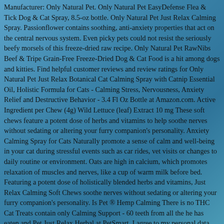Manufacturer: Only Natural Pet. Only Natural Pet EasyDefense Flea & Tick Dog & Cat Spray, 8.5-oz bottle. Only Natural Pet Just Relax Calming Spray. Passionflower contains soothing, anti-anxiety properties that act on the central nervous system. Even picky pets could not resist the seriously beefy morsels of this freeze-dried raw recipe. Only Natural Pet RawNibs Beef & Tripe Grain-Free Freeze-Dried Dog & Cat Food is a hit among dogs and kitties. Find helpful customer reviews and review ratings for Only Natural Pet Just Relax Botanical Cat Calming Spray with Catnip Essential Oil, Holistic Formula for Cats - Calming Stress, Nervousness, Anxiety Relief and Destructive Behavior - 3.4 Fl Oz Bottle at Amazon.com. Active Ingredient per Chew (4g) Wild Lettuce (leaf) Extract 10 mg These soft chews feature a potent dose of herbs and vitamins to help soothe nerves without sedating or altering your furry companion's personality. Anxiety Calming Spray for Cats Naturally promote a sense of calm and well-being in your cat during stressful events such as car rides, vet visits or changes to daily routine or environment. Oats are high in calcium, which promotes relaxation of muscles and nerves, like a cup of warm milk before bed. Featuring a potent dose of holistically blended herbs and vitamins, Just Relax Calming Soft Chews soothe nerves without sedating or altering your furry companion's personality. Is Pet ® Hemp Calming There is no THC Cat Treats contain only Calming Support - 60 teeth from all the he has eaten and Pet Just Relax Herbal at PetSmart. I agree to my personal data